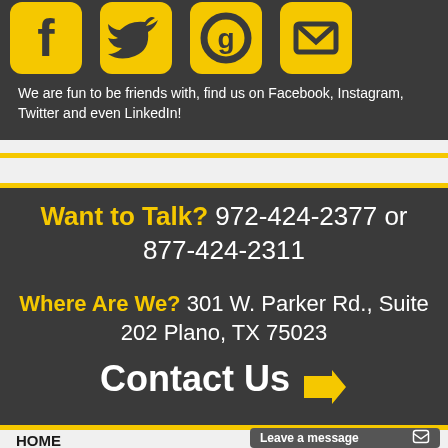[Figure (illustration): Social media icons for Facebook, Twitter, Google+/Instagram, and envelope/email on dark background]
We are fun to be friends with, find us on Facebook, Instagram, Twitter and even LinkedIn!
Want to Talk? 972-424-2377 or 877-424-2311
Where Are We? 301 W. Parker Rd., Suite 202 Plano, TX 75023
Contact Us →
HOME
CONTACT US
Leave a message